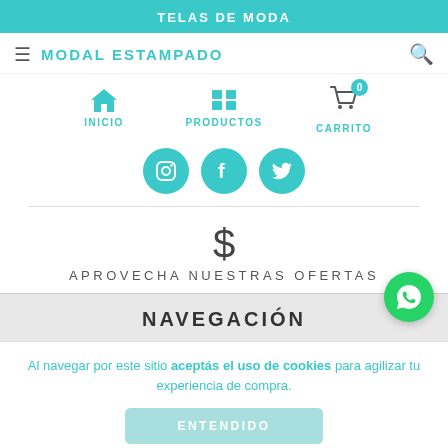TELAS DE MODA
MODAL ESTAMPADO
[Figure (screenshot): Navigation icons: INICIO (home), PRODUCTOS (list), CARRITO (cart with badge 0)]
[Figure (screenshot): Social media icons row: Instagram, Facebook, Twitter (teal circles)]
$ APROVECHA NUESTRAS OFERTAS
NAVEGACIÓN
Al navegar por este sitio aceptás el uso de cookies para agilizar tu experiencia de compra.
ENTENDIDO